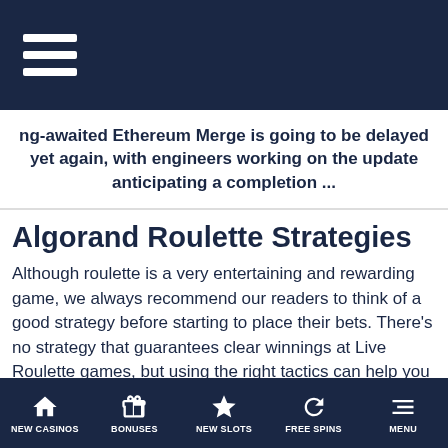hamburger menu icon
ng-awaited Ethereum Merge is going to be delayed yet again, with engineers working on the update anticipating a completion ...
Algorand Roulette Strategies
Although roulette is a very entertaining and rewarding game, we always recommend our readers to think of a good strategy before starting to place their bets. There's no strategy that guarantees clear winnings at Live Roulette games, but using the right tactics can help you accumulate big prizes and manage your funds. One of the most famous roulette strategies is the Fibonacci system, you can learn a lot about this strategy and other famous strategies here on this link.
NetEnt Algorand Roulette
NEW CASINOS | BONUSES | NEW SLOTS | FREE SPINS | MENU